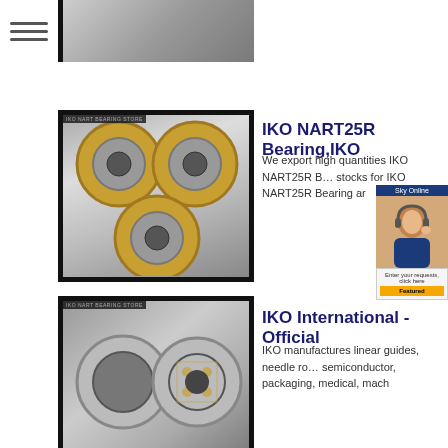[Figure (photo): Partial view of a bearing product image at top of page]
[Figure (photo): IKO NART25R bearing photo showing multiple bearing components on black background]
IKO NART25R Bearing,IKO...
We export high quantities IKO NART25R B... stocks for IKO NART25R Bearing ar
[Figure (photo): IKO International bearing photo showing multiple bearing components on black background]
IKO International - Official...
IKO manufactures linear guides, needle ro... semiconductor, packaging, medical, mach
[Figure (photo): IKO NART5R bearing photo showing ring-shaped bearings on white background]
IKO NART5R NART
Description. Roller Followers are bearings... needle rollers are incorporated in a thick w
[Figure (photo): IKO NART8VUUR bearing partial photo at bottom]
IKO, NART8VUUR, NART 8...
IKO, NART8VUUR, NART 8 VUUR, beari...